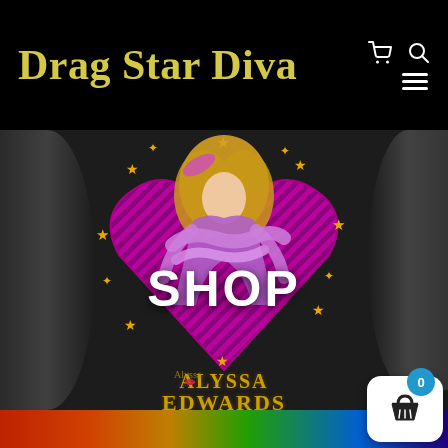Drag Star Diva
[Figure (screenshot): Screenshot of Drag Star Diva website showing a black t-shirt with Alyssa Edwards design, featuring a performer in feathered outfit inside a circle of stars on a pink heart background, with the name 'ALYSSA EDWARDS' in gold text and 'SHOP' overlaid in white bold text. Bottom shows a multicolored strip and a floating shopping cart button with badge showing 0.]